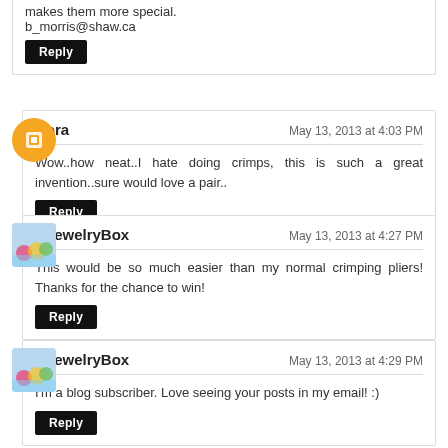makes them more special. b_morris@shaw.ca
Reply
Dora — May 13, 2013 at 4:03 PM
Wow..how neat..I hate doing crimps, this is such a great invention..sure would love a pair..
Reply
BJewelryBox — May 13, 2013 at 4:27 PM
This would be so much easier than my normal crimping pliers! Thanks for the chance to win!
Reply
BJewelryBox — May 13, 2013 at 4:29 PM
I'm a blog subscriber. Love seeing your posts in my email! :)
Reply